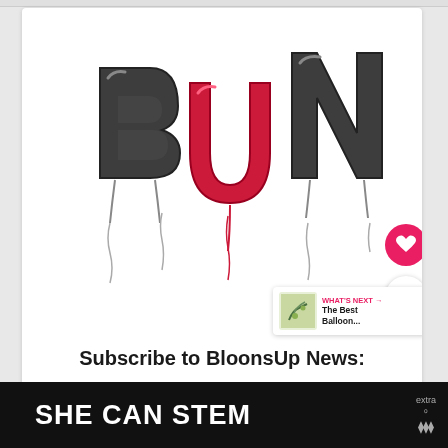[Figure (logo): BUN balloon logo — letters B, U, N styled as dark gray inflated balloons, with U in red/pink, each letter with a string hanging below, on a white background]
Subscribe to BloonsUp News:
[Figure (illustration): Heart icon button (pink circle) and share icon button (white circle with shadow)]
WHAT'S NEXT → The Best Balloon...
SHE CAN STEM
extra box°